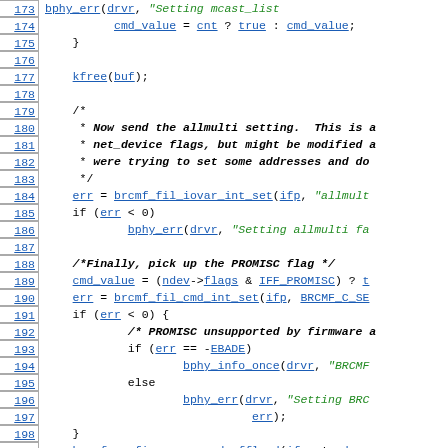[Figure (screenshot): Source code listing showing C code for network driver with line numbers 173-202, featuring syntax highlighting with blue underlined identifiers, green italic strings, and bold italic comments.]